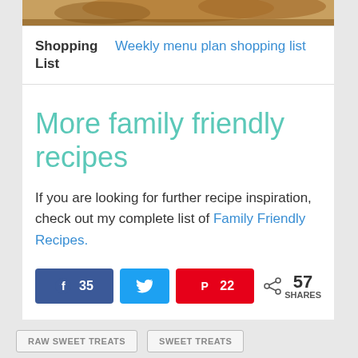[Figure (photo): Close-up photo of food (baked goods), partially visible at top of card]
Shopping List   Weekly menu plan shopping list
More family friendly recipes
If you are looking for further recipe inspiration, check out my complete list of Family Friendly Recipes.
[Figure (infographic): Social share buttons: Facebook (35), Twitter, Pinterest (22), and share count 57 SHARES]
RAW SWEET TREATS   SWEET TREATS